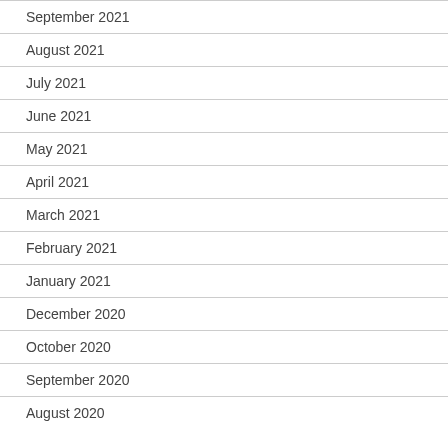September 2021
August 2021
July 2021
June 2021
May 2021
April 2021
March 2021
February 2021
January 2021
December 2020
October 2020
September 2020
August 2020